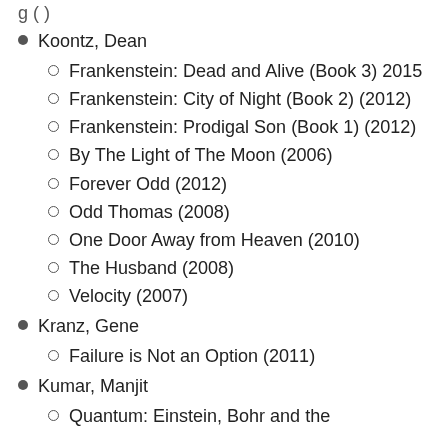Koontz, Dean
Frankenstein: Dead and Alive (Book 3) 2015
Frankenstein: City of Night (Book 2) (2012)
Frankenstein: Prodigal Son (Book 1) (2012)
By The Light of The Moon (2006)
Forever Odd (2012)
Odd Thomas (2008)
One Door Away from Heaven (2010)
The Husband (2008)
Velocity (2007)
Kranz, Gene
Failure is Not an Option (2011)
Kumar, Manjit
Quantum: Einstein, Bohr and the…